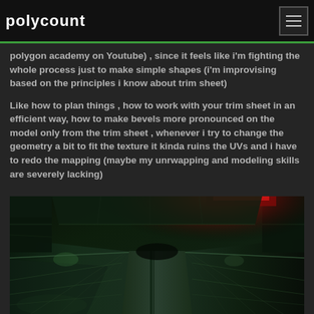polycount
polygon academy on Youtube) , since it feels like i'm fighting the whole process just to make simple shapes (i'm improvising based on the principles i know about trim sheet)
Like how to plan things , how to work with your trim sheet in an efficient way, how to make bevels more pronounced on the model only from the trim sheet , whenever i try to change the geometry a bit to fit the texture it kinda ruins the UVs and i have to redo the mapping (maybe my unrwapping and modeling skills are severely lacking)
[Figure (photo): A sci-fi corridor render showing dark green metallic floor panels with red ambient lighting in the upper right, creating a moody futuristic environment. The image shows geometric panel lines and a center groove running down the corridor.]